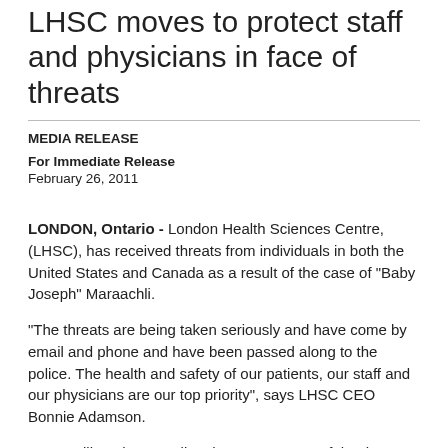LHSC moves to protect staff and physicians in face of threats
MEDIA RELEASE
For Immediate Release
February 26, 2011
LONDON, Ontario - London Health Sciences Centre, (LHSC), has received threats from individuals in both the United States and Canada as a result of the case of "Baby Joseph" Maraachli.
"The threats are being taken seriously and have come by email and phone and have been passed along to the police. The health and safety of our patients, our staff and our physicians are our top priority", says LHSC CEO Bonnie Adamson.
LHSC will not be revealing the exact nature of the threats, the details of its increased security measures nor the identities of